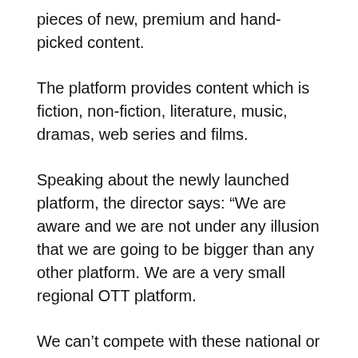pieces of new, premium and hand-picked content.
The platform provides content which is fiction, non-fiction, literature, music, dramas, web series and films.
Speaking about the newly launched platform, the director says: “We are aware and we are not under any illusion that we are going to be bigger than any other platform. We are a very small regional OTT platform.
We can’t compete with these national or international players. But having said that, we are